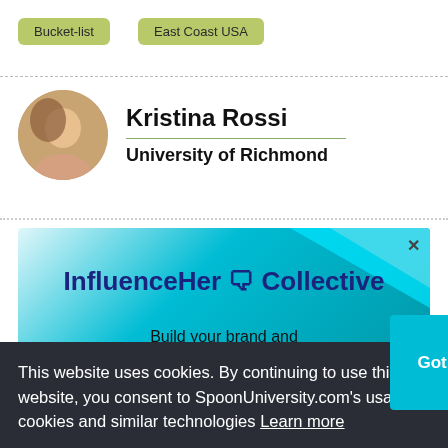Bucket-list
East Coast USA
Kristina Rossi
University of Richmond
[Figure (illustration): InfluenceHer Collective advertisement banner with cyan/teal background. Text: 'InfluenceHer [icon] Collective' and 'Build your brand and']
[Figure (illustration): Generation Hired advertisement banner with purple gradient background. Logo on left, text: 'Join Generation Hired, your virtual career center.']
This website uses cookies. By continuing to use this website, you consent to SpoonUniversity.com's usage of cookies and similar technologies Learn more
Got it!